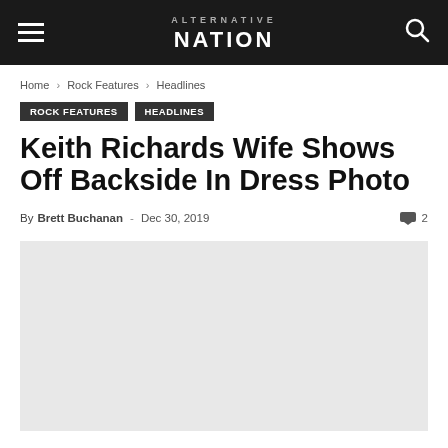Alternative Nation — site header with hamburger menu, logo, and search icon
Home › Rock Features › Headlines
Rock Features   Headlines
Keith Richards Wife Shows Off Backside In Dress Photo
By Brett Buchanan - Dec 30, 2019   2